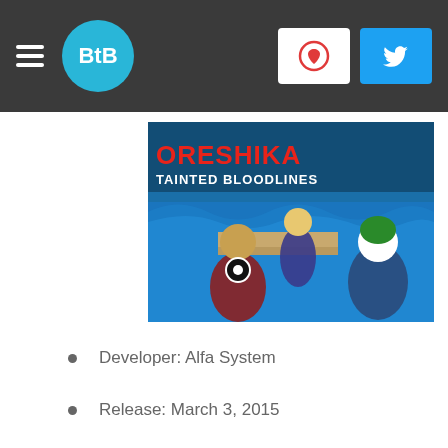BtB
[Figure (screenshot): Oreshika: Tainted Bloodlines game cover art showing anime-style characters on a dock/boat with ocean waves. Title text reads ORESHIKA TAINTED BLOODLINES in red/white letters.]
Developer: Alfa System
Release: March 3, 2015